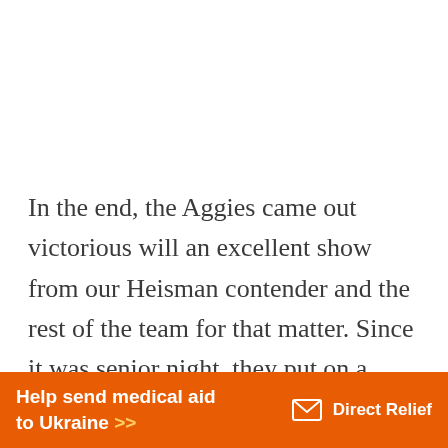In the end, the Aggies came out victorious will an excellent show from our Heisman contender and the rest of the team for that matter. Since it was senior night, they put on a pretty big show and it was awesome. So proud to call myself an Aggie. So proud that we
[Figure (infographic): Orange advertisement banner: 'Help send medical aid to Ukraine >>' with Direct Relief logo on the right]